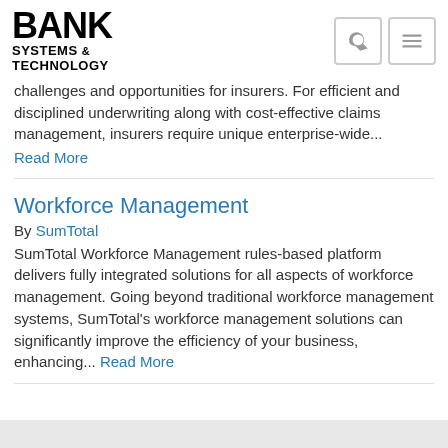BANK SYSTEMS & TECHNOLOGY
challenges and opportunities for insurers. For efficient and disciplined underwriting along with cost-effective claims management, insurers require unique enterprise-wide...
Read More
Workforce Management
By SumTotal
SumTotal Workforce Management rules-based platform delivers fully integrated solutions for all aspects of workforce management. Going beyond traditional workforce management systems, SumTotal's workforce management solutions can significantly improve the efficiency of your business, enhancing... Read More